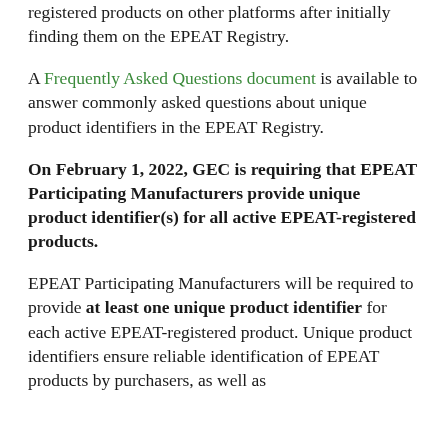registered products on other platforms after initially finding them on the EPEAT Registry.
A Frequently Asked Questions document is available to answer commonly asked questions about unique product identifiers in the EPEAT Registry.
On February 1, 2022, GEC is requiring that EPEAT Participating Manufacturers provide unique product identifier(s) for all active EPEAT-registered products.
EPEAT Participating Manufacturers will be required to provide at least one unique product identifier for each active EPEAT-registered product. Unique product identifiers ensure reliable identification of EPEAT products by purchasers, as well as